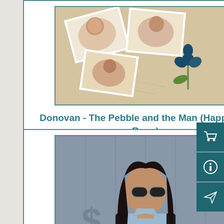[Figure (photo): Vintage postcards with women portraits on aged background with floral elements]
Donovan - The Pebble and the Man (Happiness Runs)
Price: $5.97
Add to cart
[Figure (photo): Man with long dark hair and sunglasses wearing a black leather vest over a light blue shirt]
Steve Earle - Copperhead Road